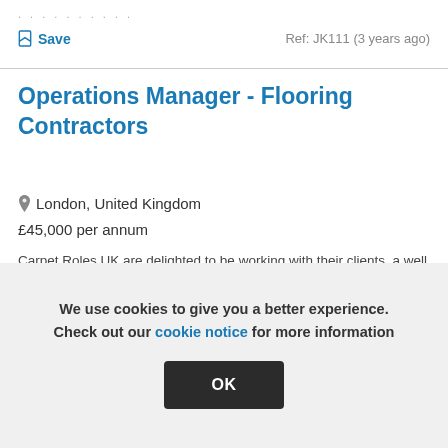..........
Save   Ref: JK111 (3 years ago)
Operations Manager - Flooring Contractors
London, United Kingdom
£45,000 per annum
Carpet Roles UK are delighted to be working with their clients, a well regarded Specialist Flooring Contractors with their growth plans and are seeking an Operations Manager to assist with the day to day running of the business and who will become a key member of the
We use cookies to give you a better experience. Check out our cookie notice for more information
OK